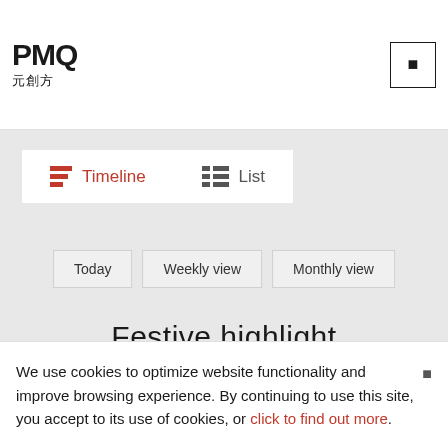[Figure (logo): PMQ logo with Chinese characters 元創方]
Timeline
List
Today
Weekly view
Monthly view
Festive highlight
We use cookies to optimize website functionality and improve browsing experience. By continuing to use this site, you accept to its use of cookies, or click to find out more.